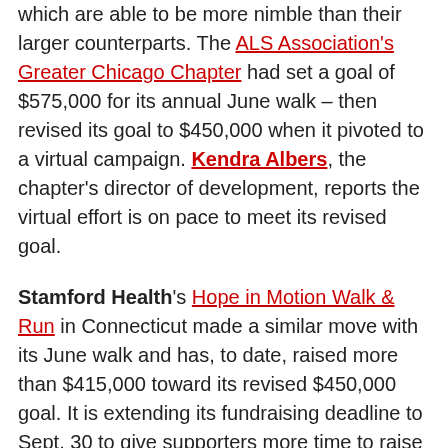which are able to be more nimble than their larger counterparts. The ALS Association's Greater Chicago Chapter had set a goal of $575,000 for its annual June walk – then revised its goal to $450,000 when it pivoted to a virtual campaign. Kendra Albers, the chapter's director of development, reports the virtual effort is on pace to meet its revised goal.
Stamford Health's Hope in Motion Walk & Run in Connecticut made a similar move with its June walk and has, to date, raised more than $415,000 toward its revised $450,000 goal. It is extending its fundraising deadline to Sept. 30 to give supporters more time to raise money.
But while fundraising totals are down for most organizations, the news is not all bad.
Some of the revenue losses have been offset by reduced costs associated with staging virtual